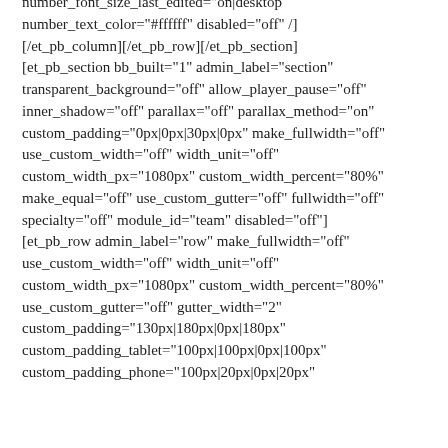number_font_size_last_edited="on|desktop" number_text_color="#ffffff" disabled="off" /] [/et_pb_column][/et_pb_row][/et_pb_section] [et_pb_section bb_built="1" admin_label="section" transparent_background="off" allow_player_pause="off" inner_shadow="off" parallax="off" parallax_method="on" custom_padding="0px|0px|30px|0px" make_fullwidth="off" use_custom_width="off" width_unit="off" custom_width_px="1080px" custom_width_percent="80%" make_equal="off" use_custom_gutter="off" fullwidth="off" specialty="off" module_id="team" disabled="off"] [et_pb_row admin_label="row" make_fullwidth="off" use_custom_width="off" width_unit="off" custom_width_px="1080px" custom_width_percent="80%" use_custom_gutter="off" gutter_width="2" custom_padding="130px|180px|0px|180px" custom_padding_tablet="100px|100px|0px|100px" custom_padding_phone="100px|20px|0px|20px"